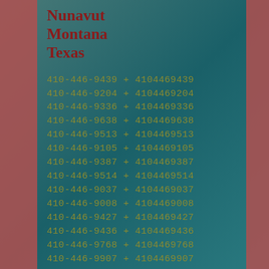Nunavut
Montana
Texas
410-446-9439 + 4104469439
410-446-9204 + 4104469204
410-446-9336 + 4104469336
410-446-9638 + 4104469638
410-446-9513 + 4104469513
410-446-9105 + 4104469105
410-446-9387 + 4104469387
410-446-9514 + 4104469514
410-446-9037 + 4104469037
410-446-9008 + 4104469008
410-446-9427 + 4104469427
410-446-9436 + 4104469436
410-446-9768 + 4104469768
410-446-9907 + 4104469907
410-446-9048 + 4104469048
410-446-9404 + 4104469404
410-446-9212 + 4104469212